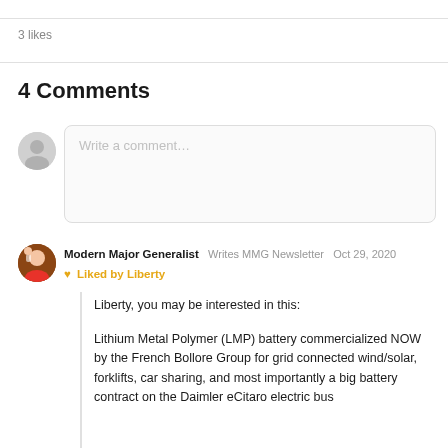3 likes
4 Comments
Write a comment…
Modern Major Generalist  Writes MMG Newsletter  Oct 29, 2020
❤ Liked by Liberty
Liberty, you may be interested in this:
Lithium Metal Polymer (LMP) battery commercialized NOW by the French Bollore Group for grid connected wind/solar, forklifts, car sharing, and most importantly a big battery contract on the Daimler eCitaro electric bus